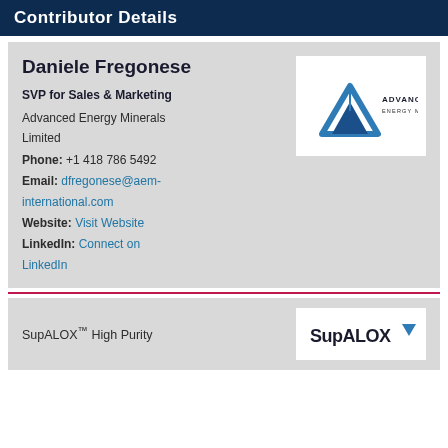Contributor Details
Daniele Fregonese
SVP for Sales & Marketing
Advanced Energy Minerals Limited
Phone: +1 418 786 5492
Email: dfregonese@aem-international.com
Website: Visit Website
LinkedIn: Connect on LinkedIn
[Figure (logo): Advanced Energy Minerals logo with blue triangle and text]
SupALOX™ High Purity
[Figure (logo): SupALOX logo]